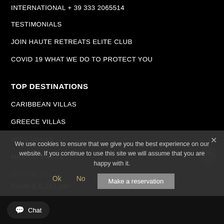INTERNATIONAL + 39 333 2065514
TESTIMONIALS
JOIN HAUTE RETREATS ELITE CLUB
COVID 19 WHAT WE DO TO PROTECT YOU
TOP DESTINATIONS
CARIBBEAN VILLAS
GREECE VILLAS
IBIZA VILLAS
MEXICO VILLAS
ITALIAN VILLAS
From $ 8,341 per
We use cookies to ensure that we give you the best experience on our website. If you continue to use this site we will assume that you are happy with it.
Ok   No   Make a reservation
Chat